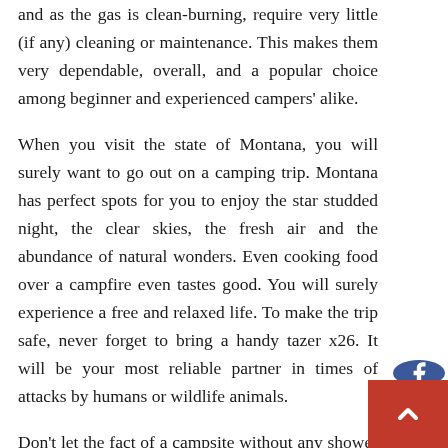and as the gas is clean-burning, require very little (if any) cleaning or maintenance. This makes them very dependable, overall, and a popular choice among beginner and experienced campers' alike.
When you visit the state of Montana, you will surely want to go out on a camping trip. Montana has perfect spots for you to enjoy the star studded night, the clear skies, the fresh air and the abundance of natural wonders. Even cooking food over a campfire even tastes good. You will surely experience a free and relaxed life. To make the trip safe, never forget to bring a handy tazer x26. It will be your most reliable partner in times of attacks by humans or wildlife animals.
Don't let the fact of a campsite without any shower block put you off, there are so many modern gadgets